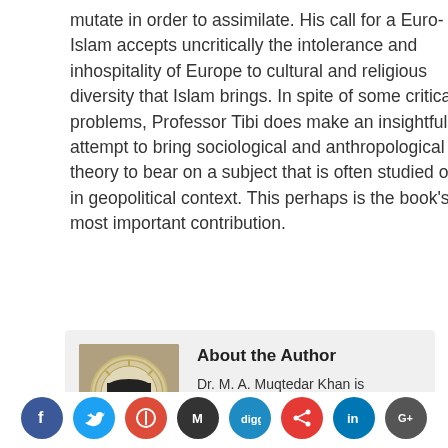mutate in order to assimilate. His call for a Euro-Islam accepts uncritically the intolerance and inhospitality of Europe to cultural and religious diversity that Islam brings. In spite of some critical problems, Professor Tibi does make an insightful attempt to bring sociological and anthropological theory to bear on a subject that is often studied only in geopolitical context. This perhaps is the book's most important contribution.
[Figure (photo): Headshot of Dr. M. A. Muqtedar Khan, a man wearing a black jacket and dark cap, standing in front of a circular architectural element resembling a mosque interior.]
About the Author
Dr. M. A. Muqtedar Khan is Professor in the Department of Political Science and International Relations at University of Delaware.